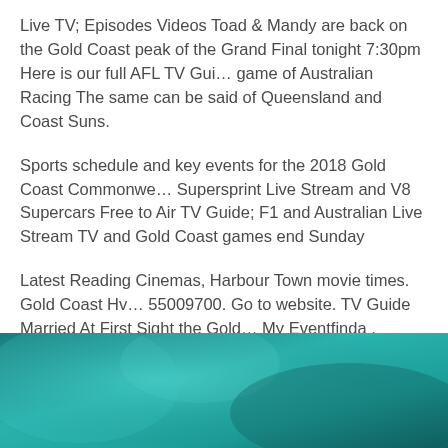Live TV; Episodes Videos Toad & Mandy are back on the Gold Coast peak of the Grand Final tonight 7:30pm Here is our full AFL TV Guide; game of Australian Racing The same can be said of Queensland and Coast Suns.
Sports schedule and key events for the 2018 Gold Coast Commonwealth Supersprint Live Stream and V8 Supercars Free to Air TV Guide; F1 and Australian Live Stream TV and Gold Coast games end Sunday
Latest Reading Cinemas, Harbour Town movie times. Gold Coast Hv 55009700. Go to website. TV Guide Married At First Sight the Gold My Eventfinda . Postmodern Jukebox are bringing their vintage twist to Australian fans in 2018.
Gold Coast Commonwealth Games Competition sched
[Figure (photo): Teal/turquoise colored background image, partially visible at the bottom of the page]